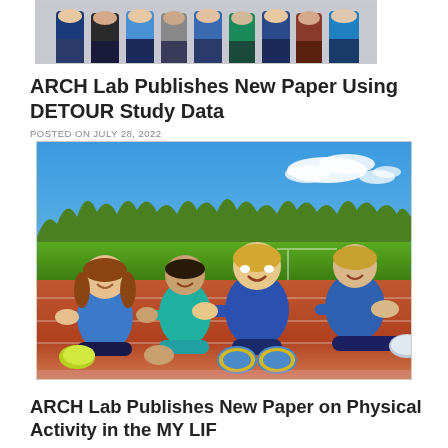[Figure (photo): Group photo of teenagers standing together, partially cropped at top of page]
ARCH Lab Publishes New Paper Using DETOUR Study Data
POSTED ON JULY 28, 2022
[Figure (photo): Four children sitting on a running track stretching forward toward their feet, with blue sky and trees in background]
ARCH Lab Publishes New Paper on Physical Activity in the MY LIF…